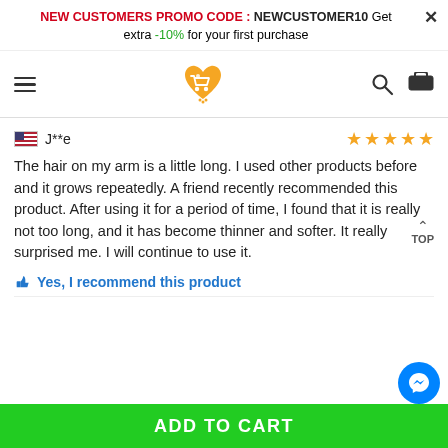NEW CUSTOMERS PROMO CODE : NEWCUSTOMER10 Get extra -10% for your first purchase
[Figure (logo): Shopping cart logo inside orange heart shape]
J**e — 5 stars review
The hair on my arm is a little long. I used other products before and it grows repeatedly. A friend recently recommended this product. After using it for a period of time, I found that it is really not too long, and it has become thinner and softer. It really surprised me. I will continue to use it.
Yes, I recommend this product
ADD TO CART